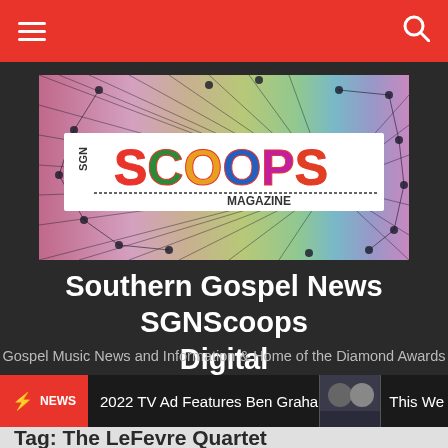Navigation bar with hamburger menu and search icon
[Figure (logo): SGN Scoops Magazine logo with colorful abstract background featuring rainbow-like streaks, dots, and rays. White banner in center reading 'SGN SCOOPS MAGAZINE' in colored lettering.]
Southern Gospel News SGNScoops Digital
Gospel Music News and Information & Home of the Diamond Awards
NEWS  2022 TV Ad Features Ben Graham  This We
Tag: The LeFevre Quartet